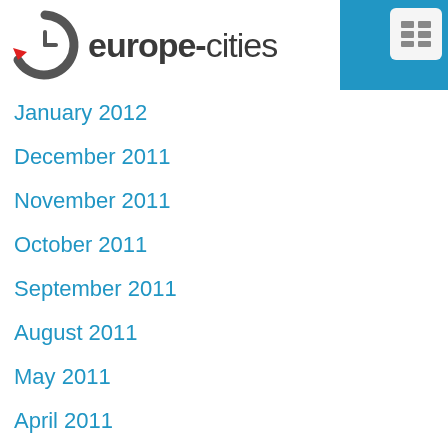[Figure (logo): europe-cities website logo with circular arrow icon in grey and red, on white background]
January 2012
December 2011
November 2011
October 2011
September 2011
August 2011
May 2011
April 2011
March 2011
November 2010